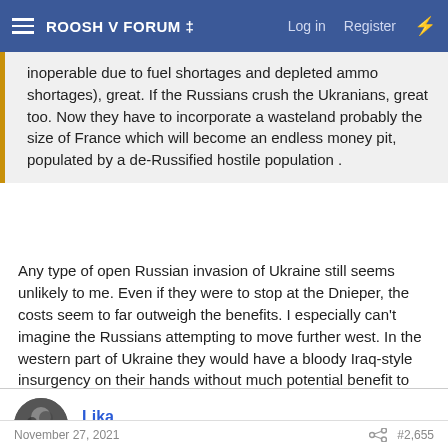ROOSH V FORUM ‡   Log in   Register
inoperable due to fuel shortages and depleted ammo shortages), great. If the Russians crush the Ukranians, great too. Now they have to incorporate a wasteland probably the size of France which will become an endless money pit, populated by a de-Russified hostile population .
Any type of open Russian invasion of Ukraine still seems unlikely to me. Even if they were to stop at the Dnieper, the costs seem to far outweigh the benefits. I especially can't imagine the Russians attempting to move further west. In the western part of Ukraine they would have a bloody Iraq-style insurgency on their hands without much potential benefit to them at all.
Lika
Kingfisher
November 27, 2021   #2,655